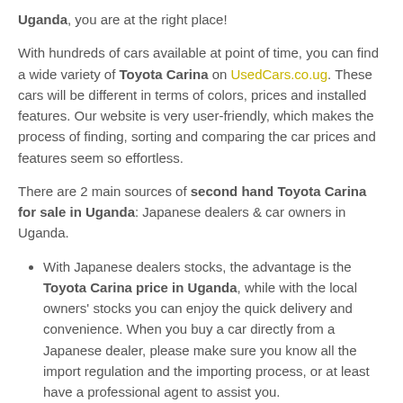Uganda, you are at the right place!
With hundreds of cars available at point of time, you can find a wide variety of Toyota Carina on UsedCars.co.ug. These cars will be different in terms of colors, prices and installed features. Our website is very user-friendly, which makes the process of finding, sorting and comparing the car prices and features seem so effortless.
There are 2 main sources of second hand Toyota Carina for sale in Uganda: Japanese dealers & car owners in Uganda.
With Japanese dealers stocks, the advantage is the Toyota Carina price in Uganda, while with the local owners' stocks you can enjoy the quick delivery and convenience. When you buy a car directly from a Japanese dealer, please make sure you know all the import regulation and the importing process, or at least have a professional agent to assist you.
When you buy a Toyota Carina for sale in